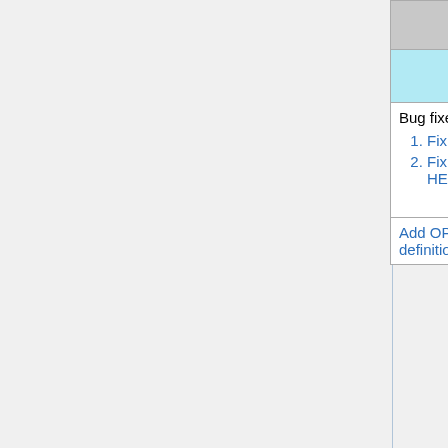| Feature | Submitted by | T |
| --- | --- | --- |
| Updates that WILL NOT AFFECT the simulation |  |  |
| Bug fixes for the CO2 and tagged CO2 simulations:
1. Fix for inconsistent tagged CO2 species names
2. Fix for reading A3dyn met fields in the default HEMCO_Config.rc file for CO2 simulations | Monika Szelag (Finnish Met. Inst.) Xuyan Yue (U. New South Wales) Bob Yantosca (GCST) | B fi |
| Add OPOA to PM2.5 definition... | Maggie Mo... | B |